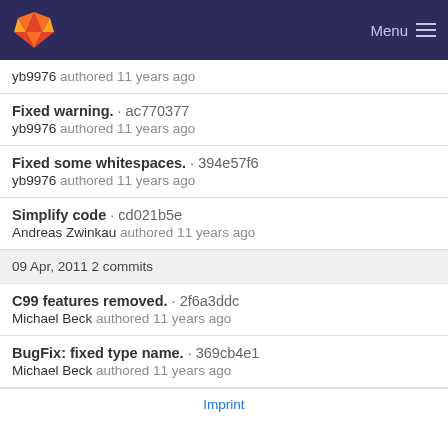GitLab Menu
yb9976 authored 11 years ago
Fixed warning. · ac770377
yb9976 authored 11 years ago
Fixed some whitespaces. · 394e57f6
yb9976 authored 11 years ago
Simplify code · cd021b5e
Andreas Zwinkau authored 11 years ago
09 Apr, 2011 2 commits
C99 features removed. · 2f6a3ddc
Michael Beck authored 11 years ago
BugFix: fixed type name. · 369cb4e1
Michael Beck authored 11 years ago
Imprint